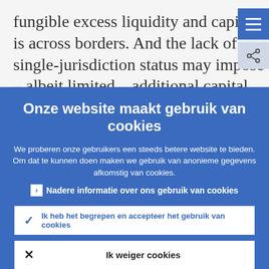fungible excess liquidity and capital is across borders. And the lack of single-jurisdiction status may impose – albeit limited – additional capital charges on our...
Onze website maakt gebruik van cookies
We proberen onze gebruikers een steeds betere website te bieden. Om dat te kunnen doen maken we gebruik van anonieme gegevens afkomstig van cookies.
Nadere informatie over ons gebruik van cookies
Ik heb het begrepen en accepteer het gebruik van cookies
Ik weiger cookies